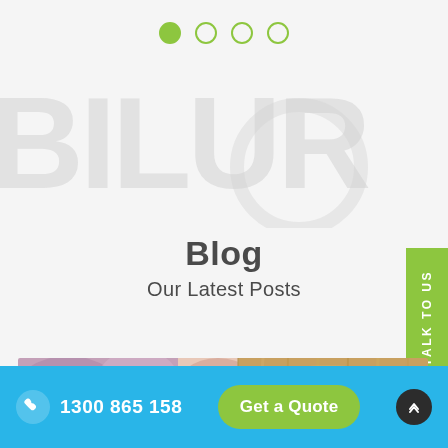[Figure (other): Carousel pagination dots — one filled green dot and three empty circle dots]
[Figure (other): Large faded background letters and partial circle forming a decorative watermark/logo area]
Blog
Our Latest Posts
[Figure (other): Green 'TALK TO US' vertical sidebar button on the right edge]
[Figure (photo): Blog preview image strip showing blurred/abstract colorful images]
1300 865 158   Get a Quote